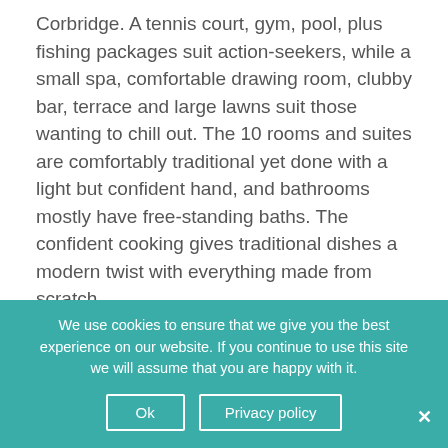Corbridge. A tennis court, gym, pool, plus fishing packages suit action-seekers, while a small spa, comfortable drawing room, clubby bar, terrace and large lawns suit those wanting to chill out. The 10 rooms and suites are comfortably traditional yet done with a light but confident hand, and bathrooms mostly have free-standing baths. The confident cooking gives traditional dishes a modern twist with everything made from scratch.
Read expert review
We use cookies to ensure that we give you the best experience on our website. If you continue to use this site we will assume that you are happy with it.